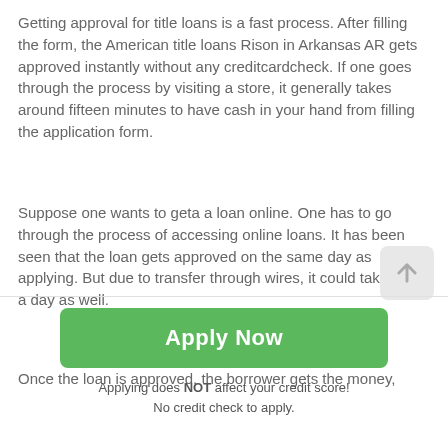Getting approval for title loans is a fast process. After filling the form, the American title loans Rison in Arkansas AR gets approved instantly without any creditcardcheck. If one goes through the process by visiting a store, it generally takes around fifteen minutes to have cash in your hand from filling the application form.
Suppose one wants to geta a loan online. One has to go through the process of accessing online loans. It has been seen that the loan gets approved on the same day as applying. But due to transfer through wires, it could take up to a day as well.
Once the loan is approved, the borrower gets the money,
[Figure (other): Green Apply Now button with rounded corners]
Applying does NOT affect your credit score!
No credit check to apply.